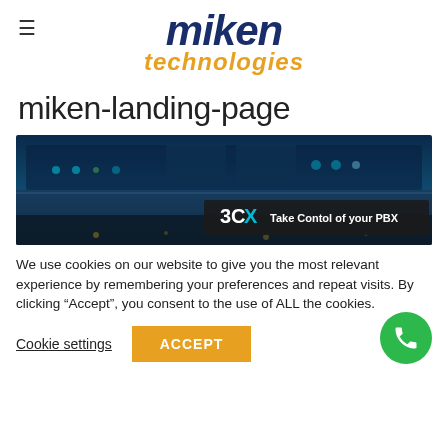[Figure (logo): Miken Technologies logo with dark blue italic bold 'miken' text and orange italic 'technologies' text below]
miken-landing-page
[Figure (screenshot): Aircraft cockpit dashboard photo with dark overlay banner showing '3CX Take Contol of your PBX']
We use cookies on our website to give you the most relevant experience by remembering your preferences and repeat visits. By clicking “Accept”, you consent to the use of ALL the cookies.
Cookie settings
ACCEPT